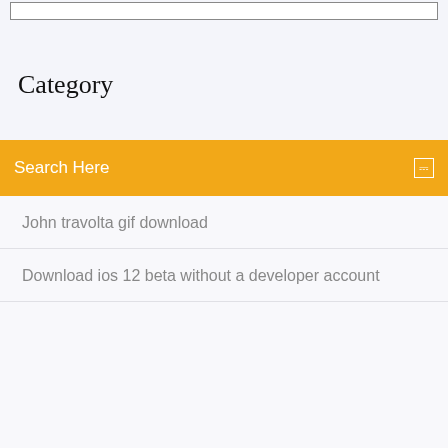Category
Search Here
John travolta gif download
Download ios 12 beta without a developer account